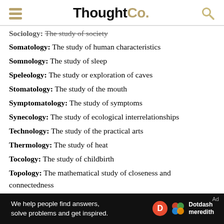ThoughtCo.
Sociology: The study of society
Somatology: The study of human characteristics
Somnology: The study of sleep
Speleology: The study or exploration of caves
Stomatology: The study of the mouth
Symptomatology: The study of symptoms
Synecology: The study of ecological interrelationships
Technology: The study of the practical arts
Thermology: The study of heat
Tocology: The study of childbirth
Topology: The mathematical study of closeness and connectedness
Toxicology: The study of poisons
[Figure (infographic): Dotdash Meredith advertisement banner: 'We help people find answers, solve problems and get inspired.']